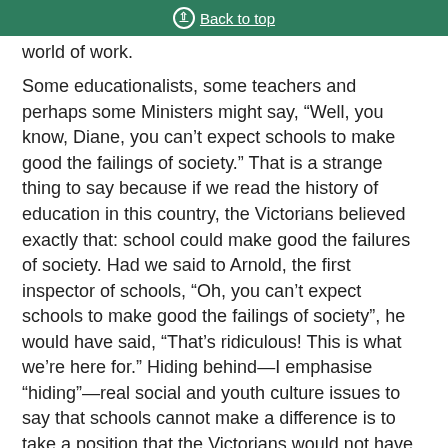Back to top
world of work.
Some educationalists, some teachers and perhaps some Ministers might say, “Well, you know, Diane, you can’t expect schools to make good the failings of society.” That is a strange thing to say because if we read the history of education in this country, the Victorians believed exactly that: school could make good the failures of society. Had we said to Arnold, the first inspector of schools, “Oh, you can’t expect schools to make good the failings of society”, he would have said, “That’s ridiculous! This is what we’re here for.” Hiding behind—I emphasise “hiding”—real social and youth culture issues to say that schools cannot make a difference is to take a position that the Victorians would not have